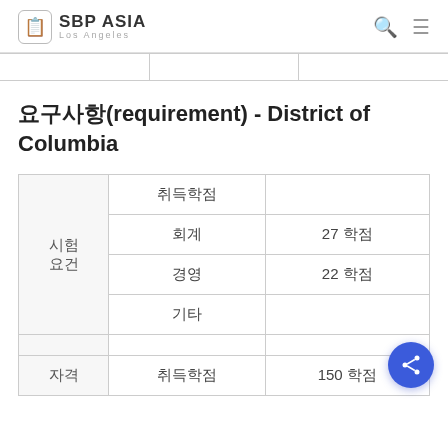SBP ASIA Los Angeles
요구사항(requirement) - District of Columbia
| 시험 요건 | 취득학점 |  |
| --- | --- | --- |
|  | 회계 | 27 학점 |
|  | 경영 | 22 학점 |
|  | 기타 |  |
|  |  |  |
| 자격 | 취득학점 | 150 학점 |